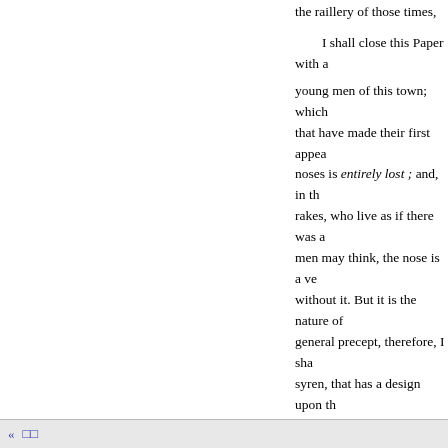the raillery of those times,
I shall close this Paper with a
young men of this town; which that have made their first appear noses is entirely lost ; and, in th rakes, who live as if there was a men may think, the nose is a ve without it. But it is the nature of general precept, therefore, I sha syren, that has a design upon th she speaks to them in that humo your face out of my way, or I w
N° 261. SATURDAY, DECE
From my own Apartment, De their lives, to turn their thoughts in fruitless searches, which tend reason I cannot forbear
«  []